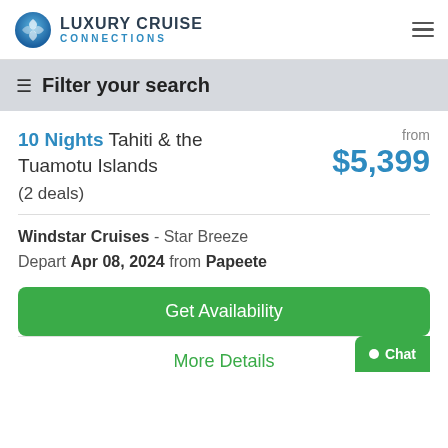LUXURY CRUISE CONNECTIONS
Filter your search
10 Nights Tahiti & the Tuamotu Islands
from $5,399
(2 deals)
Windstar Cruises - Star Breeze
Depart Apr 08, 2024 from Papeete
Get Availability
More Details
Chat